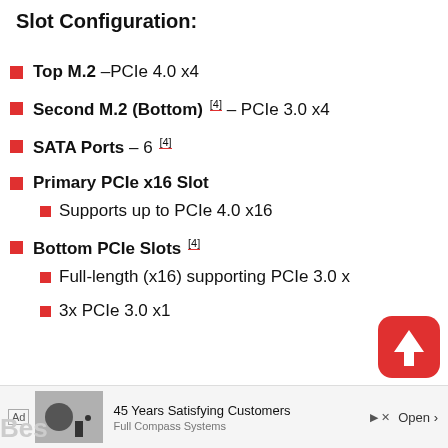Slot Configuration:
Top M.2 – PCIe 4.0 x4
Second M.2 (Bottom) [4] – PCIe 3.0 x4
SATA Ports – 6 [4]
Primary PCIe x16 Slot
Supports up to PCIe 4.0 x16
Bottom PCIe Slots [4]
Full-length (x16) supporting PCIe 3.0 x...
3x PCIe 3.0 x1
[Figure (other): Advertisement banner: Full Compass Systems — 45 Years Satisfying Customers]
[Figure (other): Back to top button (red rounded square with upward arrow)]